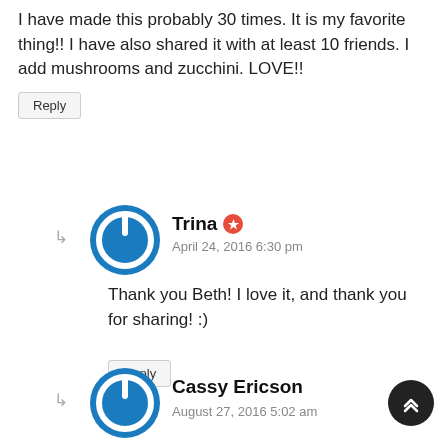I have made this probably 30 times. It is my favorite thing!! I have also shared it with at least 10 friends. I add mushrooms and zucchini. LOVE!!
Reply
[Figure (illustration): Blue circular power button avatar icon for user Trina]
Trina
April 24, 2016 6:30 pm
Thank you Beth! I love it, and thank you for sharing! :)
Reply
[Figure (illustration): Blue circular power button avatar icon for user Cassy Ericson]
Cassy Ericson
August 27, 2016 5:02 am